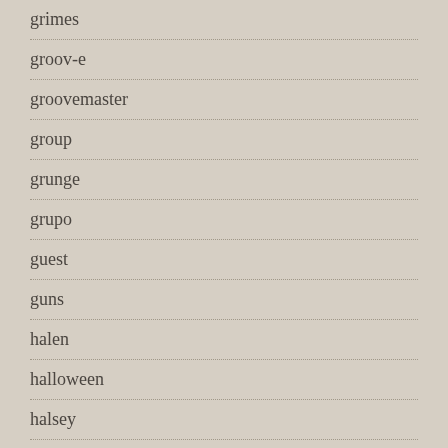grimes
groov-e
groovemaster
group
grunge
grupo
guest
guns
halen
halloween
halsey
hamilton
hank
happy
hard
hardcorebreakbeatrave